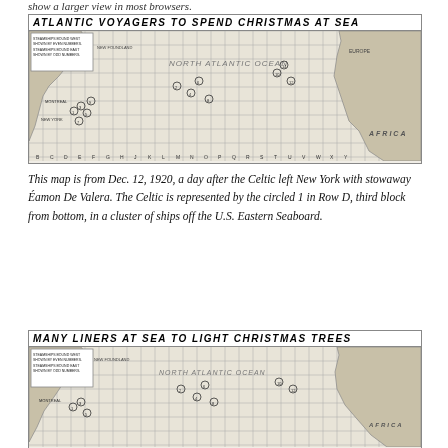show a larger view in most browsers.
[Figure (map): Newspaper map titled 'ATLANTIC VOYAGERS TO SPEND CHRISTMAS AT SEA' showing the North Atlantic Ocean with grid coordinates A-Y along bottom and numbered rows. Ships shown as circled numbers, with a legend indicating steamships bound west shown by even numbers and east by odd numbers. Dated Dec. 12, 1920.]
This map is from Dec. 12, 1920, a day after the Celtic left New York with stowaway Éamon De Valera. The Celtic is represented by the circled 1 in Row D, third block from bottom, in a cluster of ships off the U.S. Eastern Seaboard.
[Figure (map): Newspaper map titled 'MANY LINERS AT SEA TO LIGHT CHRISTMAS TREES' showing the North Atlantic Ocean with similar grid layout and ship positions indicated by circled numbers.]